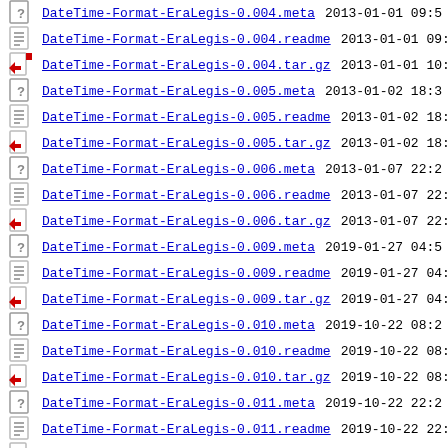DateTime-Format-EraLegis-0.004.meta 2013-01-01 09:5
DateTime-Format-EraLegis-0.004.readme 2013-01-01 09:5
DateTime-Format-EraLegis-0.004.tar.gz 2013-01-01 10:0
DateTime-Format-EraLegis-0.005.meta 2013-01-02 18:3
DateTime-Format-EraLegis-0.005.readme 2013-01-02 18:3
DateTime-Format-EraLegis-0.005.tar.gz 2013-01-02 18:3
DateTime-Format-EraLegis-0.006.meta 2013-01-07 22:2
DateTime-Format-EraLegis-0.006.readme 2013-01-07 22:2
DateTime-Format-EraLegis-0.006.tar.gz 2013-01-07 22:2
DateTime-Format-EraLegis-0.009.meta 2019-01-27 04:5
DateTime-Format-EraLegis-0.009.readme 2019-01-27 04:5
DateTime-Format-EraLegis-0.009.tar.gz 2019-01-27 04:5
DateTime-Format-EraLegis-0.010.meta 2019-10-22 08:2
DateTime-Format-EraLegis-0.010.readme 2019-10-22 08:2
DateTime-Format-EraLegis-0.010.tar.gz 2019-10-22 08:2
DateTime-Format-EraLegis-0.011.meta 2019-10-22 22:2
DateTime-Format-EraLegis-0.011.readme 2019-10-22 22:2
DateTime-Format-EraLegis-0.011.tar.gz 2019-10-22 22:2